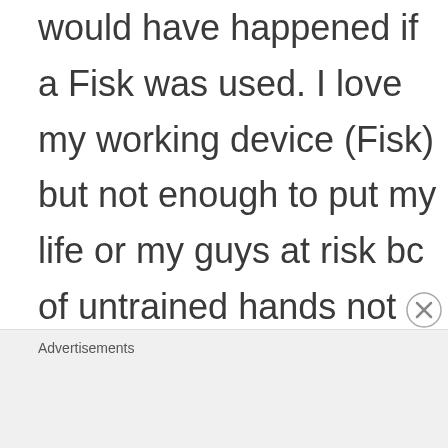would have happened if a Fisk was used. I love my working device (Fisk) but not enough to put my life or my guys at risk bc of untrained hands not thoroughly trained with the Fisk over and over
[Figure (other): Close/dismiss button circle with X icon in bottom-right area]
Advertisements